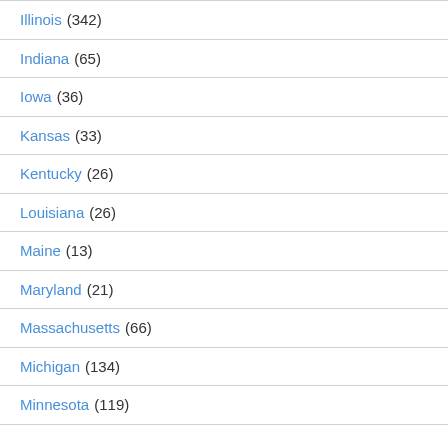Illinois (342)
Indiana (65)
Iowa (36)
Kansas (33)
Kentucky (26)
Louisiana (26)
Maine (13)
Maryland (21)
Massachusetts (66)
Michigan (134)
Minnesota (119)